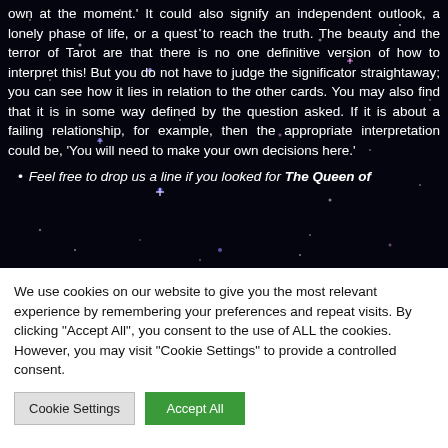interpreted by saying, 'You are working very much on your own at the moment.' It could also signify an independent outlook, a lonely phase of life, or a quest to reach the truth. The beauty and the terror of Tarot are that there is no one definitive version of how to interpret this! But you do not have to judge the significator straightaway; you can see how it lies in relation to the other cards. You may also find that it is in some way defined by the question asked. If it is about a failing relationship, for example, then the appropriate interpretation could be, 'You will need to make your own decisions here.'
Feel free to drop us a line if you looked for The Queen of
We use cookies on our website to give you the most relevant experience by remembering your preferences and repeat visits. By clicking "Accept All", you consent to the use of ALL the cookies. However, you may visit "Cookie Settings" to provide a controlled consent.